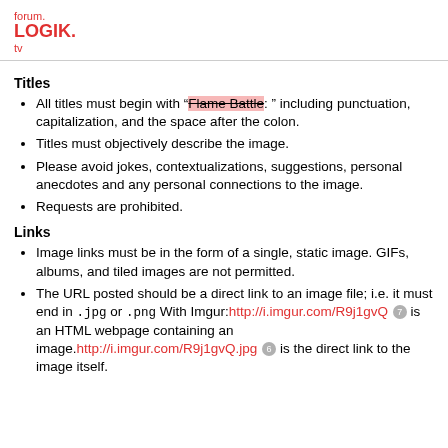forum.LOGIK.tv
Titles
All titles must begin with "Flame Battle: " including punctuation, capitalization, and the space after the colon.
Titles must objectively describe the image.
Please avoid jokes, contextualizations, suggestions, personal anecdotes and any personal connections to the image.
Requests are prohibited.
Links
Image links must be in the form of a single, static image. GIFs, albums, and tiled images are not permitted.
The URL posted should be a direct link to an image file; i.e. it must end in .jpg or .png With Imgur:http://i.imgur.com/R9j1gvQ 7 is an HTML webpage containing an image.http://i.imgur.com/R9j1gvQ.jpg 6 is the direct link to the image itself.